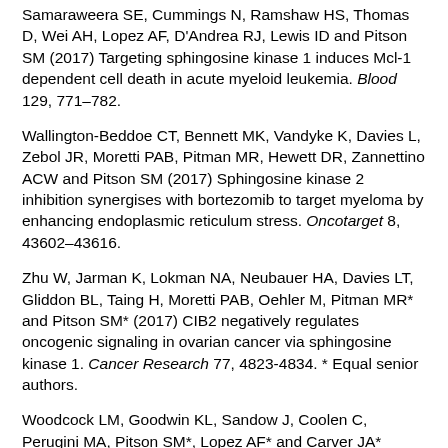Samaraweera SE, Cummings N, Ramshaw HS, Thomas D, Wei AH, Lopez AF, D'Andrea RJ, Lewis ID and Pitson SM (2017) Targeting sphingosine kinase 1 induces Mcl-1 dependent cell death in acute myeloid leukemia. Blood 129, 771–782.
Wallington-Beddoe CT, Bennett MK, Vandyke K, Davies L, Zebol JR, Moretti PAB, Pitman MR, Hewett DR, Zannettino ACW and Pitson SM (2017) Sphingosine kinase 2 inhibition synergises with bortezomib to target myeloma by enhancing endoplasmic reticulum stress. Oncotarget 8, 43602–43616.
Zhu W, Jarman K, Lokman NA, Neubauer HA, Davies LT, Gliddon BL, Taing H, Moretti PAB, Oehler M, Pitman MR* and Pitson SM* (2017) CIB2 negatively regulates oncogenic signaling in ovarian cancer via sphingosine kinase 1. Cancer Research 77, 4823-4834. * Equal senior authors.
Woodcock LM, Goodwin KL, Sandow J, Coolen C, Perugini MA, Pitson SM*, Lopez AF* and Carver JA* (2018) Role of...